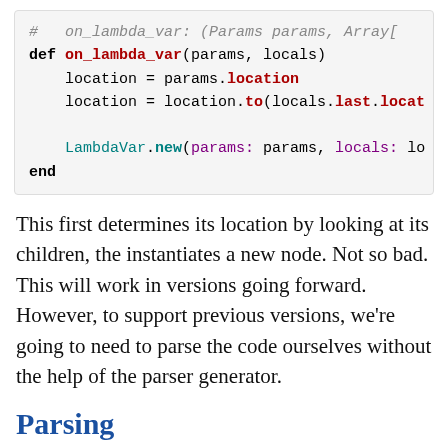[Figure (screenshot): Code block showing Ruby method on_lambda_var with syntax highlighting]
This first determines its location by looking at its children, the instantiates a new node. Not so bad. This will work in versions going forward. However, to support previous versions, we're going to need to parse the code ourselves without the help of the parser generator.
Parsing